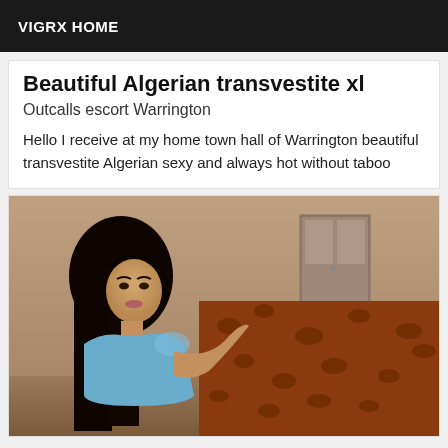VIGRX HOME
Beautiful Algerian transvestite xl
Outcalls escort Warrington
Hello I receive at my home town hall of Warrington beautiful transvestite Algerian sexy and always hot without taboo
[Figure (photo): Photo of a person with long dark hair wearing a blue top, reclining near a leopard-print surface in a room with beige walls]